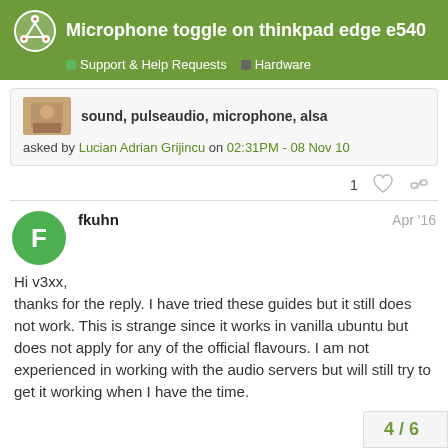Microphone toggle on thinkpad edge e540
Support & Help Requests  Hardware
sound, pulseaudio, microphone, alsa
asked by Lucian Adrian Grijincu on 02:31PM - 08 Nov 10
1
fkuhn  Apr '16
Hi v3xx,
thanks for the reply. I have tried these guides but it still does not work. This is strange since it works in vanilla ubuntu but does not apply for any of the official flavours. I am not experienced in working with the audio servers but will still try to get it working when I have the time.
4 / 6